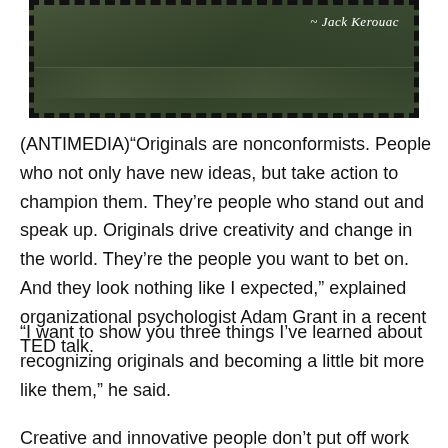[Figure (photo): A dark green textured background resembling worn fabric or aged material, with a dashed/perforated border like a postage stamp. In the upper right corner, italic text reads '~ Jack Kerouac' in white.]
(ANTIMEDIA)“Originals are nonconformists. People who not only have new ideas, but take action to champion them. They’re people who stand out and speak up. Originals drive creativity and change in the world. They’re the people you want to bet on. And they look nothing like I expected,” explained organizational psychologist Adam Grant in a recent TED talk.
“I want to show you three things I’ve learned about recognizing originals and becoming a little bit more like them,” he said.
Creative and innovative people don’t put off work